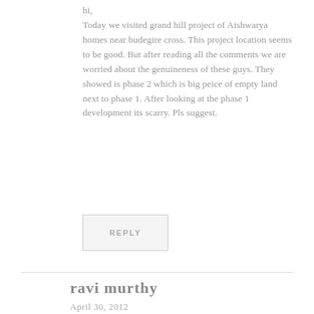hi,
Today we visited grand hill project of Aishwarya homes near budegire cross. This project location seems to be good. But after reading all the comments we are worried about the genuineness of these guys. They showed is phase 2 which is big peice of empty land next to phase 1. After looking at the phase 1 development its scarry. Pls suggest.
REPLY
ravi murthy
April 30, 2012
Hi Harsha,